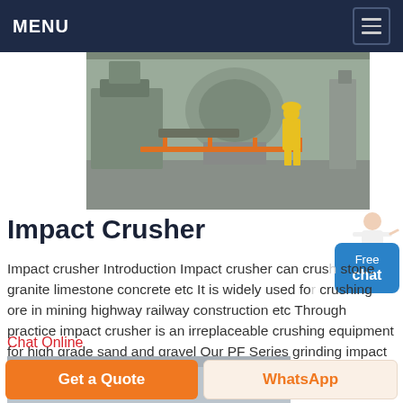MENU
[Figure (photo): Industrial machinery scene with worker in yellow safety gear standing near heavy equipment, orange metal railings, grey industrial setting]
Impact Crusher
Impact crusher Introduction Impact crusher can crush stone granite limestone concrete etc It is widely used for crushing ore in mining highway railway construction etc Through practice impact crusher is an irreplaceable crushing equipment for high grade sand and gravel Our PF Series grinding impact crushers have a very competitive
Chat Online
[Figure (photo): Interior industrial facility with equipment visible]
Get a Quote | WhatsApp